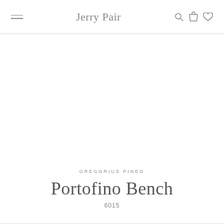Jerry Pair
[Figure (other): White/blank product image area]
GREGORIUS PINEO
Portofino Bench
6015